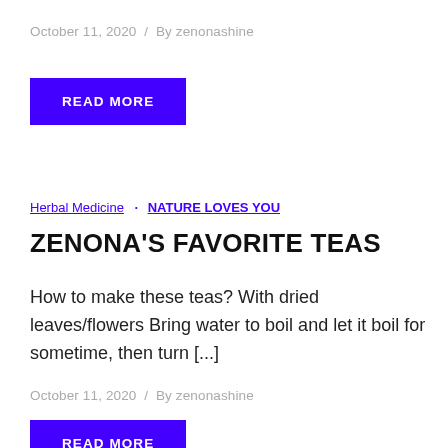October 11, 2020  /  By zenonashine
READ MORE
Herbal Medicine  .  NATURE LOVES YOU
ZENONA'S FAVORITE TEAS
How to make these teas? With dried leaves/flowers Bring water to boil and let it boil for sometime, then turn [...]
October 11, 2020  /  By zenonashine
READ MORE